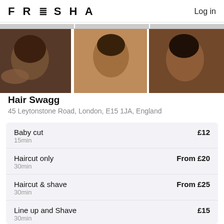FRESHA  Log in
[Figure (photo): Three side-profile photos of men with fade haircuts at a barber shop]
Hair Swagg
45 Leytonstone Road, London, E15 1JA, England
| Service | Price |
| --- | --- |
| Baby cut
15min | £12 |
| Haircut only
30min | From £20 |
| Haircut & shave
30min | From £25 |
| Line up and Shave
30min | £15 |